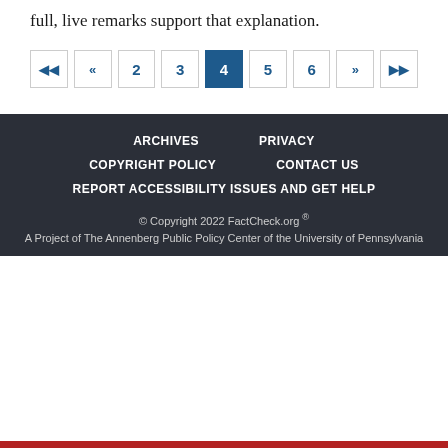full, live remarks support that explanation.
Pagination: |< « 2 3 4 5 6 » >|
ARCHIVES  PRIVACY  COPYRIGHT POLICY  CONTACT US  REPORT ACCESSIBILITY ISSUES AND GET HELP  © Copyright 2022 FactCheck.org ®  A Project of The Annenberg Public Policy Center of the University of Pennsylvania